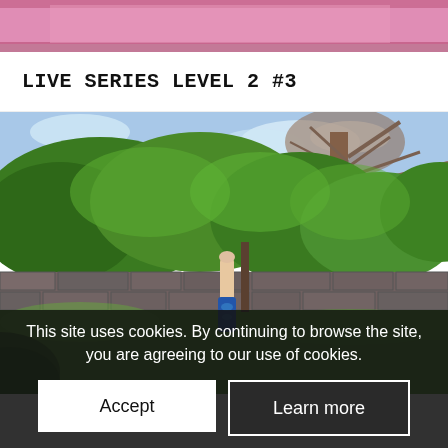[Figure (photo): Top edge of a pink yoga mat, partially cropped]
LIVE SERIES LEVEL 2 #3
[Figure (photo): Outdoor garden yoga photo: person doing a headstand or shoulder stand on green grass, with stone wall and trees in background]
This site uses cookies. By continuing to browse the site, you are agreeing to our use of cookies.
Accept
Learn more